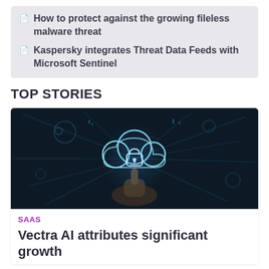How to protect against the growing fileless malware threat
Kaspersky integrates Threat Data Feeds with Microsoft Sentinel
TOP STORIES
[Figure (photo): A person pointing at a glowing cloud with a padlock icon, surrounded by digital network connections on a dark background, representing cloud security.]
SAAS
Vectra AI attributes significant growth